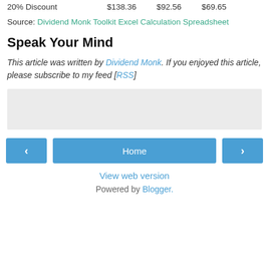20% Discount   $138.36   $92.56   $69.65
Source: Dividend Monk Toolkit Excel Calculation Spreadsheet
Speak Your Mind
This article was written by Dividend Monk. If you enjoyed this article, please subscribe to my feed [RSS]
[Figure (other): Gray placeholder box]
< Home >
View web version
Powered by Blogger.